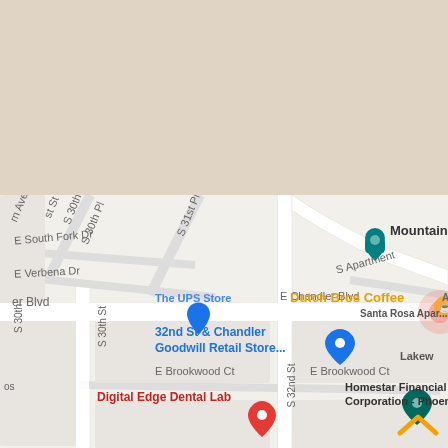[Figure (map): Google Maps screenshot showing the area around E Chandler Blvd and S 32nd St in Phoenix/Chandler, AZ. Shows street labels including S 30th Pl, S 31st Pl, E South Fork Dr, E Verbena Dr, E Chandler Blvd, E Brookwood Ct, S 30th St, S 32nd St, S Apartment. Points of interest include Mountain Canyon Condominiums, The UPS Store, Dutch Bros Coffee, Animal Hospital, Santa Rosa Apartments, 32nd St & Chandler Goodwill Retail Store, Digital Edge Dental Lab, Homestar Financial Corporation - Phoenix, Lakewood. Map pins visible for Mountain Canyon Condominiums (teal), 32nd St & Chandler Goodwill Retail Store (blue), Digital Edge Dental Lab (red), Homestar Financial Corporation (dark teal). Orange chevron arrow visible at bottom right.]